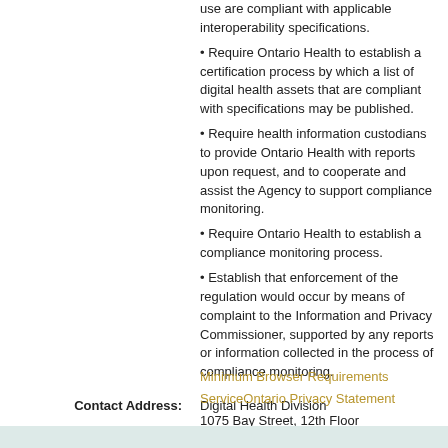use are compliant with applicable interoperability specifications.
Require Ontario Health to establish a certification process by which a list of digital health assets that are compliant with specifications may be published.
Require health information custodians to provide Ontario Health with reports upon request, and to cooperate and assist the Agency to support compliance monitoring.
Require Ontario Health to establish a compliance monitoring process.
Establish that enforcement of the regulation would occur by means of complaint to the Information and Privacy Commissioner, supported by any reports or information collected in the process of compliance monitoring.
Contact Address: Digital Health Division
1075 Bay Street, 12th Floor
Toronto ON M5S 2B1
Effective Date: January 1, 2021
Decision: Approved
Minimum Browser Requirements
ServiceOntario Privacy Statement